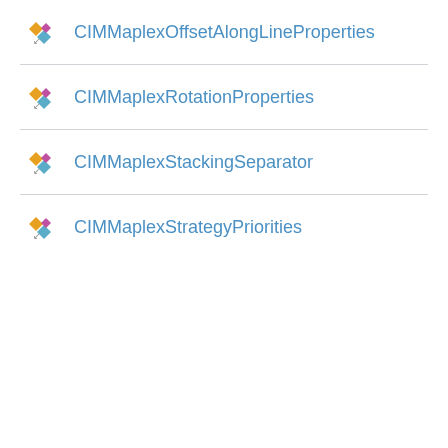CIMMaplexOffsetAlongLineProperties
CIMMaplexRotationProperties
CIMMaplexStackingSeparator
CIMMaplexStrategyPriorities